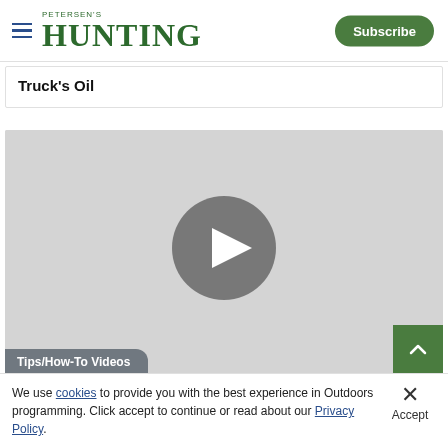PETERSEN'S HUNTING | Subscribe
Truck's Oil
[Figure (screenshot): Video player placeholder with gray background and a circular play button in the center. A 'Tips/How-To Videos' label appears at the bottom left.]
We use cookies to provide you with the best experience in Outdoors programming. Click accept to continue or read about our Privacy Policy.